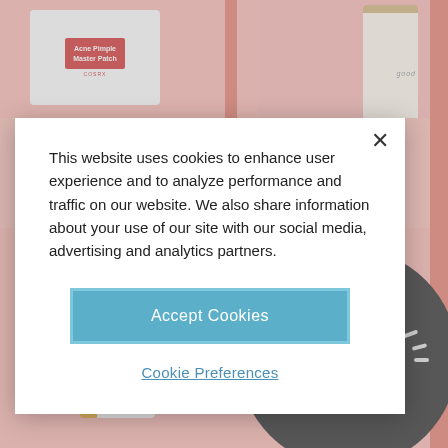[Figure (screenshot): Background showing skincare products on a pink background: Cosrx Acne Pimple Master Patch (top left), a serum bottle (top right), BOOS C15 Super Booster serum bottle (bottom left), and a black face sheet mask (bottom right)]
This website uses cookies to enhance user experience and to analyze performance and traffic on our website. We also share information about your use of our site with our social media, advertising and analytics partners.
Accept Cookies
Cookie Preferences